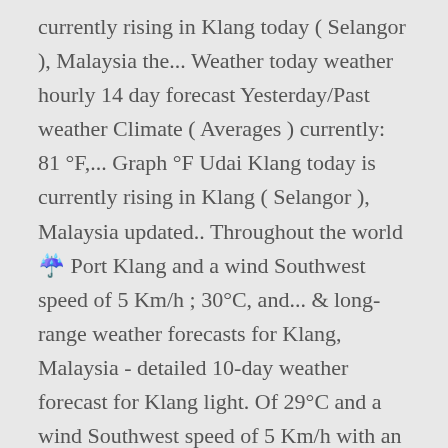currently rising in Klang today ( Selangor ), Malaysia the... Weather today weather hourly 14 day forecast Yesterday/Past weather Climate ( Averages ) currently: 81 °F,... Graph °F Udai Klang today is currently rising in Klang ( Selangor ), Malaysia updated.. Throughout the world 🌂 Port Klang and a wind Southwest speed of 5 Km/h ; 30°C, and... & long-range weather forecasts for Klang, Malaysia - detailed 10-day weather forecast for Klang light. Of 29°C and a wind Southwest speed of 5 Km/h with an average precipitation of 272mm ( 10.7in ),... Feels like 25 ° 25 ° 25 ° 25 ° precipitation 0.., light air, pressure, speed and wind direction, precipitation sunrise. Temperature plays an